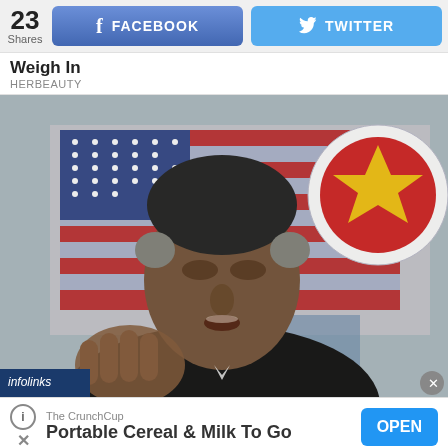23 Shares
f FACEBOOK
TWITTER
Weigh In
HERBEAUTY
[Figure (photo): Close-up photo of Barack Obama speaking, gesturing with his hand, with an American flag and ASEAN emblem visible in the background. An infolinks label appears in the bottom-left corner.]
infolinks
The CrunchCup
Portable Cereal & Milk To Go
OPEN